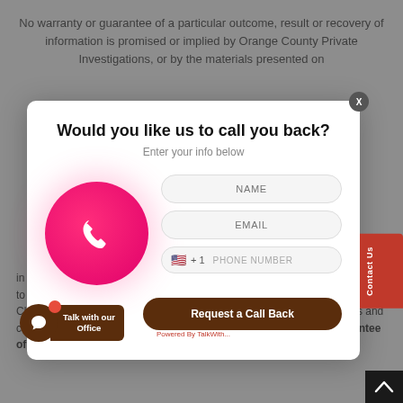No warranty or guarantee of a particular outcome, result or recovery of information is promised or implied by Orange County Private Investigations, or by the materials presented on
[Figure (screenshot): Modal popup dialog asking 'Would you like us to call you back?' with a subtitle 'Enter your info below', a pink circle phone icon on the left, and form fields for NAME, EMAIL, and PHONE NUMBER with a 'Request a Call Back' button in dark brown.]
in writing. Credit card transactions will carry an extra three percent (3%) fee to cover bank credit card processing fees. By paying any advance or invoice, Client acknowledges that Client has reviewed and agreed to these terms and conditions. All sales are final and non-refundable. There is no guarantee of success.